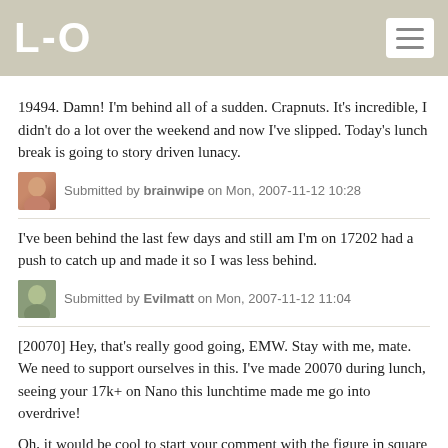L-O
19494. Damn! I'm behind all of a sudden. Crapnuts. It's incredible, I didn't do a lot over the weekend and now I've slipped. Today's lunch break is going to story driven lunacy.
Submitted by brainwipe on Mon, 2007-11-12 10:28
I've been behind the last few days and still am I'm on 17202 had a push to catch up and made it so I was less behind.
Submitted by Evilmatt on Mon, 2007-11-12 11:04
[20070] Hey, that's really good going, EMW. Stay with me, mate. We need to support ourselves in this. I've made 20070 during lunch, seeing your 17k+ on Nano this lunchtime made me go into overdrive!

Oh, it would be cool to start your comment with the figure in square brackets, so it's easy to pick out the updates.
Submitted by brainwipe on Mon, 2007-11-12 13:34
[19999]I could have gone one more word to meet the target for a the day but I figured this was better :)